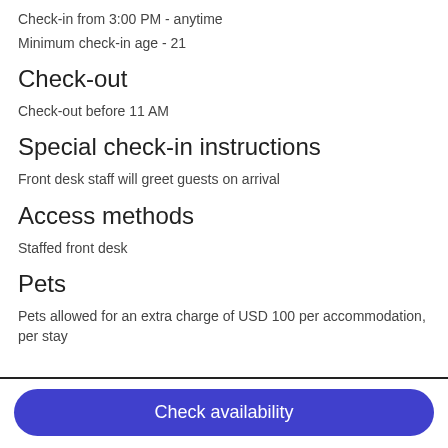Check-in from 3:00 PM - anytime
Minimum check-in age - 21
Check-out
Check-out before 11 AM
Special check-in instructions
Front desk staff will greet guests on arrival
Access methods
Staffed front desk
Pets
Pets allowed for an extra charge of USD 100 per accommodation, per stay
Check availability